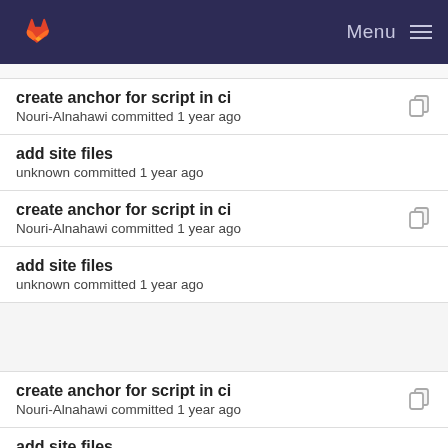Menu
create anchor for script in ci
Nouri-Alnahawi committed 1 year ago
add site files
unknown committed 1 year ago
create anchor for script in ci
Nouri-Alnahawi committed 1 year ago
add site files
unknown committed 1 year ago
create anchor for script in ci
Nouri-Alnahawi committed 1 year ago
add site files
unknown committed 1 year ago